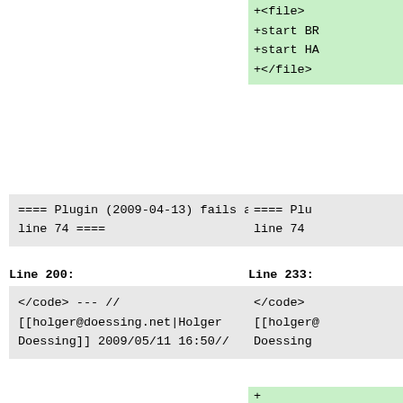+<file>
+start BR
+start HA
+</file>
==== Plugin (2009-04-13) fails at line 74 ====
==== Plu
line 74
Line 200:
Line 233:
</code> --- //
[[holger@doessing.net|Holger Doessing]] 2009/05/11 16:50//
</code>
[[holger@
Doessing
+
+==== Bug
(2012/23
+
+<code ph
+<?php
+
+function